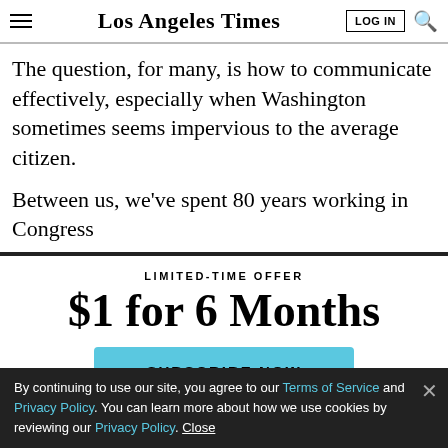Los Angeles Times | LOG IN | [search]
The question, for many, is how to communicate effectively, especially when Washington sometimes seems impervious to the average citizen.
Between us, we've spent 80 years working in Congress
LIMITED-TIME OFFER
$1 for 6 Months
SUBSCRIBE NOW
By continuing to use our site, you agree to our Terms of Service and Privacy Policy. You can learn more about how we use cookies by reviewing our Privacy Policy. Close